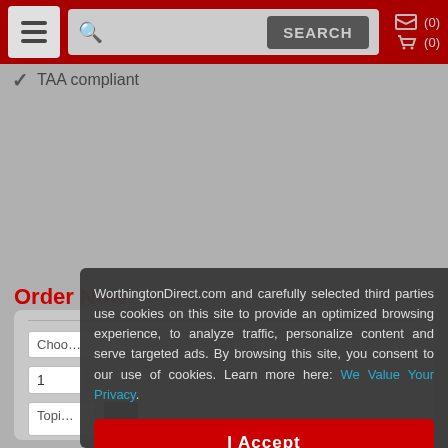Navigation bar with hamburger menu, search field, SEARCH button, and cart/list icons with (0) counts
✓ TAA compliant
Order Now
WorthingtonDirect.com and carefully selected third parties use cookies on this site to provide an optimized browsing experience, to analyze traffic, personalize content and serve targeted ads. By browsing this site, you consent to our use of cookies. Learn more here: We Value Your Privacy.
I Accept